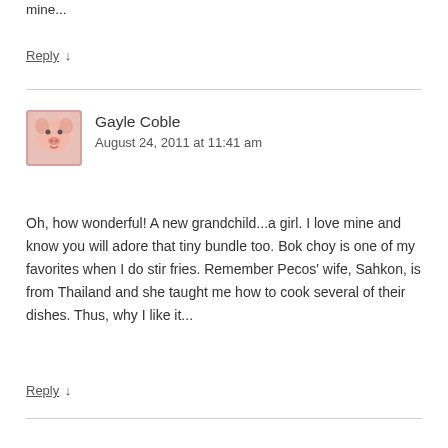mine...
Reply ↓
Gayle Coble
August 24, 2011 at 11:41 am
Oh, how wonderful! A new grandchild...a girl. I love mine and know you will adore that tiny bundle too. Bok choy is one of my favorites when I do stir fries. Remember Pecos' wife, Sahkon, is from Thailand and she taught me how to cook several of their dishes. Thus, why I like it...
Reply ↓